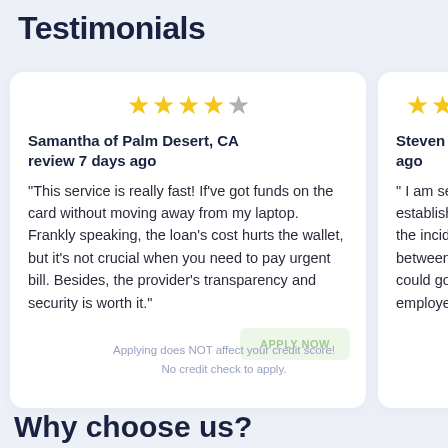Testimonials
Samantha of Palm Desert, CA review 7 days ago
"This service is really fast! If've got funds on the card without moving away from my laptop. Frankly speaking, the loan's cost hurts the wallet, but it's not crucial when you need to pay urgent bill. Besides, the provider's transparency and security is worth it."
Steven of Toney, AL ... ago
" I am self employed trying to establish a with you so when the incidents that actua between pay period a place I could go to which my employee week ($2000). I wen
Applying does NOT affect your credit score!
No credit check to apply.
Why choose us?